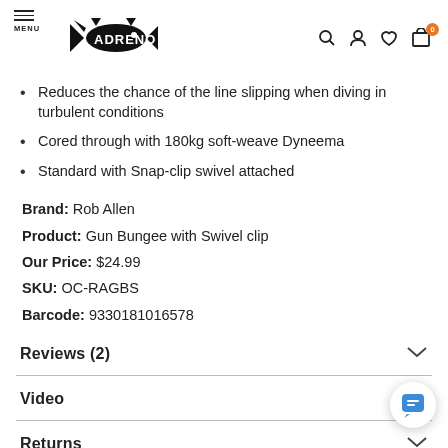ADRENO – Menu, Search, Account, Wishlist, Cart (0)
Reduces the chance of the line slipping when diving in turbulent conditions
Cored through with 180kg soft-weave Dyneema
Standard with Snap-clip swivel attached
Brand: Rob Allen
Product: Gun Bungee with Swivel clip
Our Price: $24.99
SKU: OC-RAGBS
Barcode: 9330181016578
Reviews (2)
Video
Returns